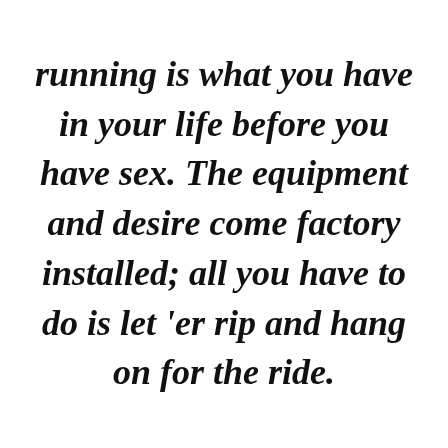running is what you have in your life before you have sex. The equipment and desire come factory installed; all you have to do is let 'er rip and hang on for the ride.